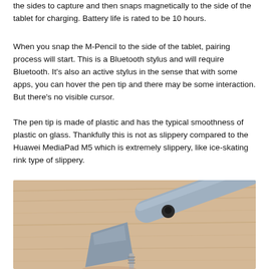the sides to capture and then snaps magnetically to the side of the tablet for charging. Battery life is rated to be 10 hours.
When you snap the M-Pencil to the side of the tablet, pairing process will start. This is a Bluetooth stylus and will require Bluetooth. It's also an active stylus in the sense that with some apps, you can hover the pen tip and there may be some interaction. But there's no visible cursor.
The pen tip is made of plastic and has the typical smoothness of plastic on glass. Thankfully this is not as slippery compared to the Huawei MediaPad M5 which is extremely slippery, like ice-skating rink type of slippery.
[Figure (photo): Close-up photo of a grey stylus pen tip on a wooden surface. The stylus body is visible in the upper right, and a detached conical pen tip with a metal screw thread is shown in the foreground on the lower left.]